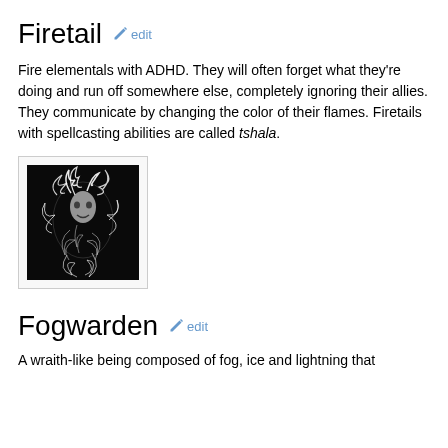Firetail [edit]
Fire elementals with ADHD. They will often forget what they're doing and run off somewhere else, completely ignoring their allies. They communicate by changing the color of their flames. Firetails with spellcasting abilities are called tshala.
[Figure (illustration): Black and white illustration of a ghostly, swirling fire elemental creature with wild hair and flames.]
Fogwarden [edit]
A wraith-like being composed of fog, ice and lightning that